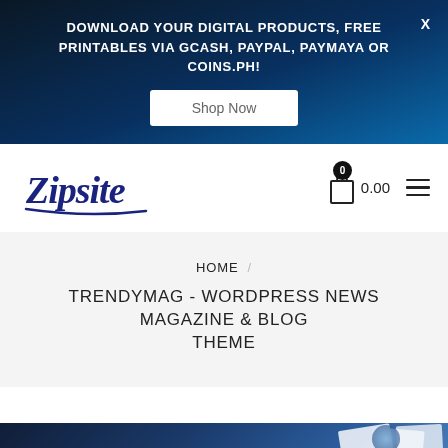DOWNLOAD YOUR DIGITAL PRODUCTS, FREE PRINTABLES VIA GCASH, PAYPAL, PAYMAYA OR COINS.PH!
[Figure (logo): Zipsite cursive script logo in dark blue with underline]
0  0.00
HOME / TRENDYMAG - WORDPRESS NEWS MAGAZINE & BLOG THEME
[Figure (photo): Bottom strip showing dark navy to blue gradient background with white paper/magazine mockup overlays]